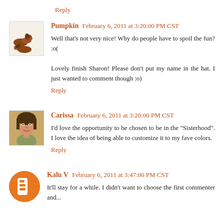Reply
Pumpkin  February 6, 2011 at 3:20:00 PM CST
Well that's not very nice! Why do people have to spoil the fun? :o(
Lovely finish Sharon! Please don't put my name in the hat. I just wanted to comment though :o)
Reply
Carissa  February 6, 2011 at 3:20:00 PM CST
I'd love the opportunity to be chosen to be in the "Sisterhood". I love the idea of being able to customize it to my fave colors.
Reply
Kalu V  February 6, 2011 at 3:47:00 PM CST
It'll stay for a while. I didn't want to choose the first commenter and...